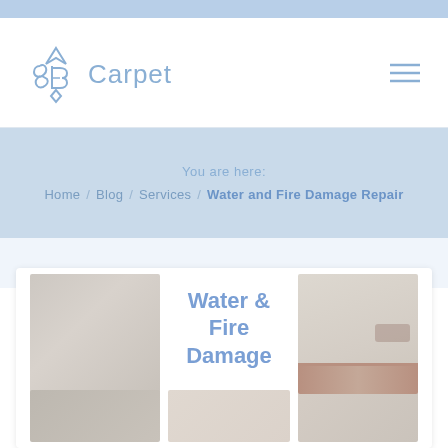[Figure (logo): A&B Carpet logo with stylized diamond/letter shapes in blue, followed by the text 'Carpet' in light blue]
[Figure (other): Hamburger menu icon (three horizontal lines) in light blue]
You are here:
Home / Blog / Services / Water and Fire Damage Repair
[Figure (photo): Banner or card showing images of carpet damage alongside text 'Water & Fire Damage' in blue on white background. Left photo shows a light grey/beige carpet texture. Right photo shows water or fire damaged wall/baseboard area. Bottom row shows additional damage photos.]